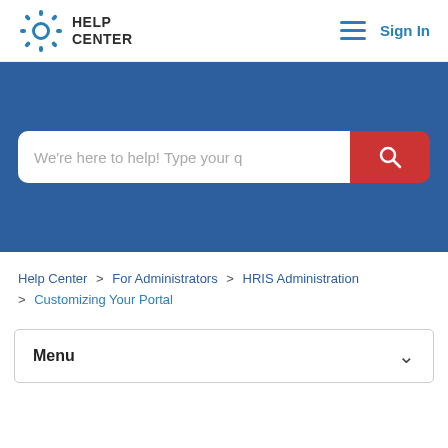HELP CENTER  ☰  Sign In
[Figure (screenshot): Blue search banner with white search input box containing placeholder text 'We're here to help! Type your q' and a red search button with magnifying glass icon]
Help Center > For Administrators > HRIS Administration > Customizing Your Portal
Menu ∨